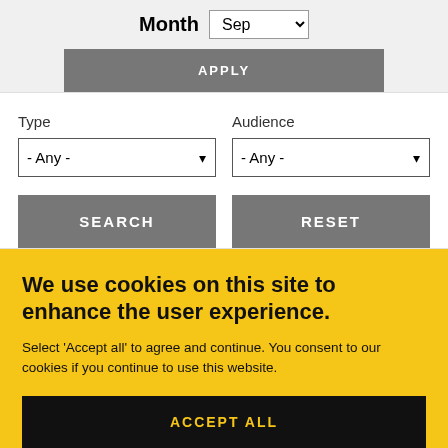Month  Sep
APPLY
Type
- Any -
Audience
- Any -
SEARCH
RESET
We use cookies on this site to enhance the user experience.
Select 'Accept all' to agree and continue. You consent to our cookies if you continue to use this website.
ACCEPT ALL